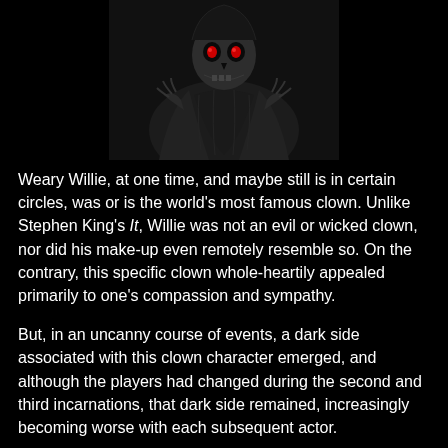[Figure (illustration): A dark illustration of a skeletal or ghoulish clown figure seated, with glowing red eyes, wearing tattered robes, on a black background.]
Weary Willie, at one time, and maybe still is in certain circles, was or is the world's most famous clown. Unlike Stephen King's It, Willie was not an evil or wicked clown, nor did his make-up even remotely resemble so. On the contrary, this specific clown whole-heartily appealed primarily to one's compassion and sympathy.
But, in an uncanny course of events, a dark side associated with this clown character emerged, and although the players had changed during the second and third incarnations, that dark side remained, increasingly becoming worse with each subsequent actor.
Willie number one was conceived in 1931. However,